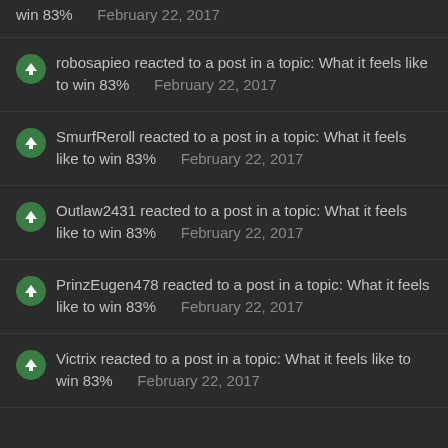win 83%    February 22, 2017
robosapieo reacted to a post in a topic: What it feels like to win 83%    February 22, 2017
SmurfReroll reacted to a post in a topic: What it feels like to win 83%    February 22, 2017
Outlaw2431 reacted to a post in a topic: What it feels like to win 83%    February 22, 2017
PrinzEugen478 reacted to a post in a topic: What it feels like to win 83%    February 22, 2017
Victrix reacted to a post in a topic: What it feels like to win 83%    February 22, 2017